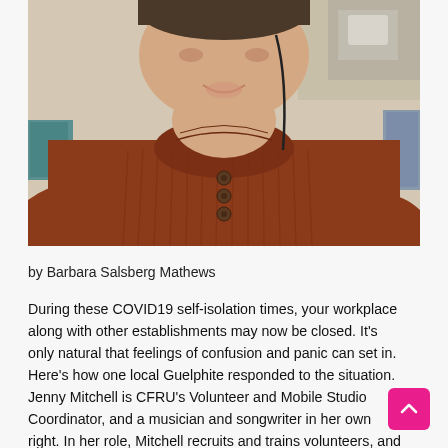[Figure (photo): A person wearing a rust/terracotta colored knit sweater with three wooden buttons at the neck, smiling and looking downward. They have a headphone cord visible. The background shows a room interior.]
by Barbara Salsberg Mathews
During these COVID19 self-isolation times, your workplace along with other establishments may now be closed. It's only natural that feelings of confusion and panic can set in. Here's how one local Guelphite responded to the situation. Jenny Mitchell is CFRU's Volunteer and Mobile Studio Coordinator, and a musician and songwriter in her own right. In her role, Mitchell recruits and trains volunteers, and supports them in getting involved in the station. She also